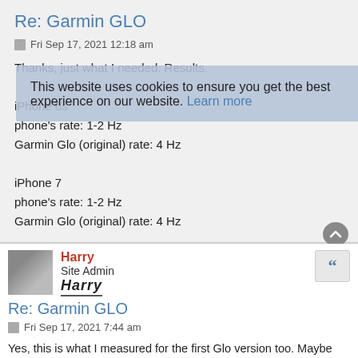Re: Garmin GLO
Fri Sep 17, 2021 12:18 am
Thanks, just what I needed. Results.

iPhone 6s
phone's rate: 1-2 Hz
Garmin Glo (original) rate: 4 Hz

iPhone 7
phone's rate: 1-2 Hz
Garmin Glo (original) rate: 4 Hz
[Figure (photo): User avatar thumbnail showing a car]
Harry
Site Admin
HARRY
Re: Garmin GLO
Fri Sep 17, 2021 7:44 am
Yes, this is what I measured for the first Glo version too. Maybe someone can share information on the current Glo 2 version.
The internal GPS always delivers 1 Hz. 2 Hz can show up shortly due to runtime effects, but this will be very rare and isn't what is actually delivered.
This website uses cookies to ensure you get the best experience on our website. Learn more